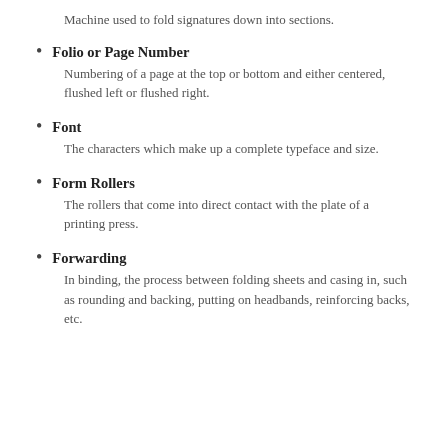Machine used to fold signatures down into sections.
Folio or Page Number
Numbering of a page at the top or bottom and either centered, flushed left or flushed right.
Font
The characters which make up a complete typeface and size.
Form Rollers
The rollers that come into direct contact with the plate of a printing press.
Forwarding
In binding, the process between folding sheets and casing in, such as rounding and backing, putting on headbands, reinforcing backs, etc.